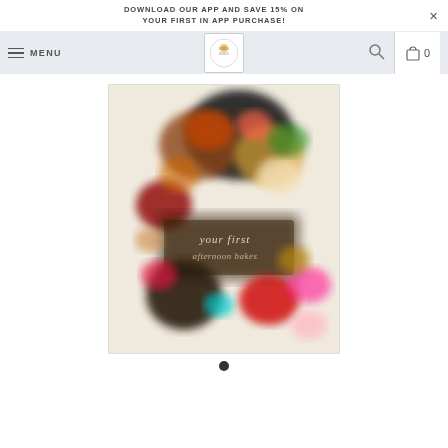DOWNLOAD OUR APP AND SAVE 15% ON YOUR FIRST IN APP PURCHASE!
MENU | Logo | Search | 0
[Figure (photo): Blurred product image of a book cover featuring colorful food items — fruits, chocolates, and treats — with text overlay on a white background, shown on a retail website product page. A carousel dot indicator is visible below the image.]